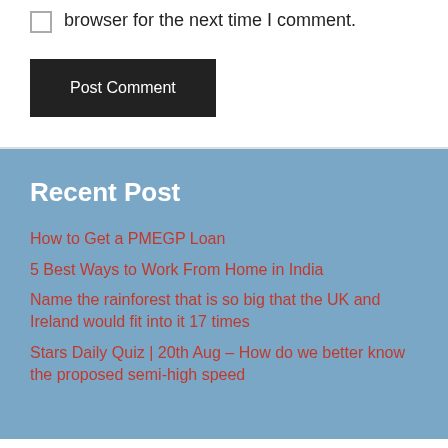browser for the next time I comment.
Post Comment
Recent Post
How to Get a PMEGP Loan
5 Best Ways to Work From Home in India
Name the rainforest that is so big that the UK and Ireland would fit into it 17 times
Stars Daily Quiz | 20th Aug – How do we better know the proposed semi-high speed